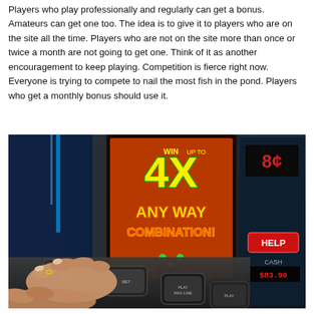Players who play professionally and regularly can get a bonus. Amateurs can get one too. The idea is to give it to players who are on the site all the time. Players who are not on the site more than once or twice a month are not going to get one. Think of it as another encouragement to keep playing. Competition is fierce right now. Everyone is trying to compete to nail the most fish in the pond. Players who get a monthly bonus should use it.
[Figure (photo): Close-up photo of hands pressing buttons on a casino slot machine. The machine displays '4X ANY WAY COMBINATION!' in bright neon text. A side screen shows '8¢', a red HELP button, and a CASH display showing $83.90. The machine buttons are illuminated and the background shows casino lighting.]